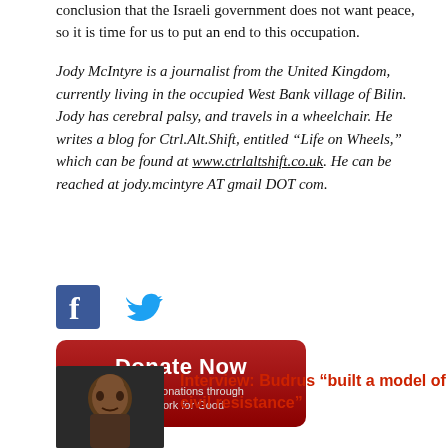conclusion that the Israeli government does not want peace, so it is time for us to put an end to this occupation.
Jody McIntyre is a journalist from the United Kingdom, currently living in the occupied West Bank village of Bilin. Jody has cerebral palsy, and travels in a wheelchair. He writes a blog for Ctrl.Alt.Shift, entitled “Life on Wheels,” which can be found at www.ctrlaltshift.co.uk. He can be reached at jody.mcintyre AT gmail DOT com.
[Figure (logo): Facebook and Twitter social media icons]
[Figure (illustration): Donate Now button - red rounded rectangle with text 'Donate Now' and subtext 'Secure donations through Network for Good']
[Figure (photo): Headshot photo of a man]
Interview: Budrus “built a model of civil resistance⋁